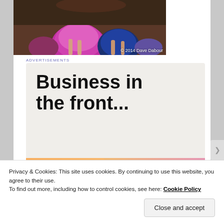[Figure (photo): Partial photo of people in colorful skirts (pink, blue) with copyright text '© 2014 Dave Dabour' overlaid at bottom right]
[Figure (infographic): Advertisement banner in two parts: top section on light gray background reads 'Business in the front...' in large bold text; bottom section on peach/orange gradient background reads 'WordPress in the back.' in large bold text]
Privacy & Cookies: This site uses cookies. By continuing to use this website, you agree to their use.
To find out more, including how to control cookies, see here: Cookie Policy
Close and accept